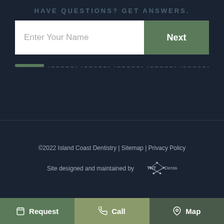HAVE QUESTIONS? GET ANSWERS.
Enter Your Name
Next
©2022 Island Coast Dentistry | Sitemap | Privacy Policy
Site designed and maintained by TNT Dental
Request  Call  Map